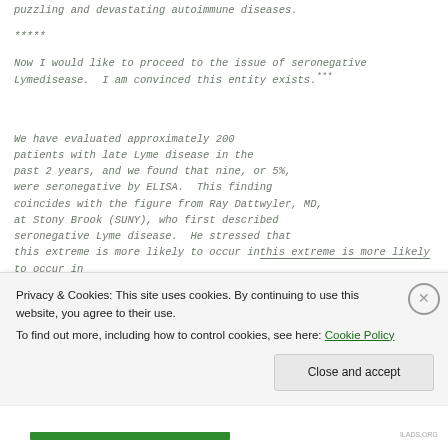puzzling and devastating autoimmune diseases.
*****
Now I would like to proceed to the issue of seronegative Lymedisease.  I am convinced this entity exists.***
We have evaluated approximately 200 patients with late Lyme disease in the past 2 years, and we found that nine, or 5%, were seronegative by ELISA.  This finding coincides with the figure from Ray Dattwyler, MD, at Stony Brook (SUNY), who first described seronegative Lyme disease.  He stressed that this extreme is more likely to occur in
Privacy & Cookies: This site uses cookies. By continuing to use this website, you agree to their use.
To find out more, including how to control cookies, see here: Cookie Policy
Close and accept